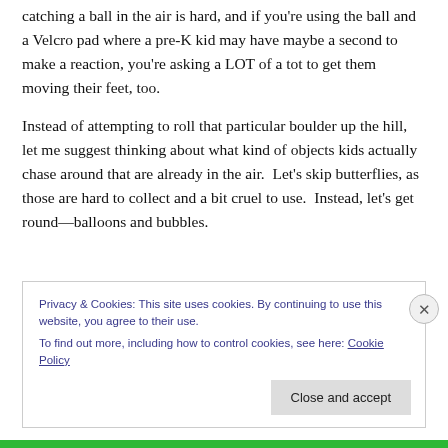catching a ball in the air is hard, and if you're using the ball and a Velcro pad where a pre-K kid may have maybe a second to make a reaction, you're asking a LOT of a tot to get them moving their feet, too.
Instead of attempting to roll that particular boulder up the hill, let me suggest thinking about what kind of objects kids actually chase around that are already in the air.  Let's skip butterflies, as those are hard to collect and a bit cruel to use.  Instead, let's get round—balloons and bubbles.
Privacy & Cookies: This site uses cookies. By continuing to use this website, you agree to their use.
To find out more, including how to control cookies, see here: Cookie Policy